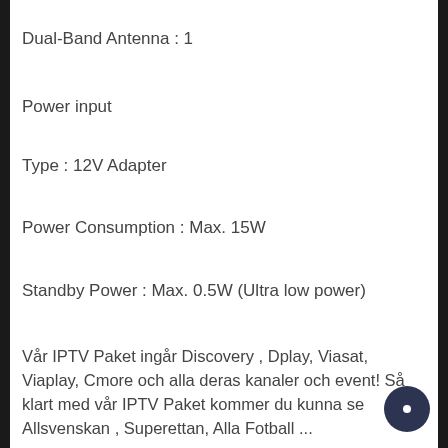Dual-Band Antenna : 1
Power input
Type : 12V Adapter
Power Consumption : Max. 15W
Standby Power : Max. 0.5W (Ultra low power)
Vår IPTV Paket ingår Discovery , Dplay, Viasat, Viaplay, Cmore och alla deras kanaler och event! Så klart med vår IPTV Paket kommer du kunna se Allsvenskan , Superettan, Alla Fotball ...